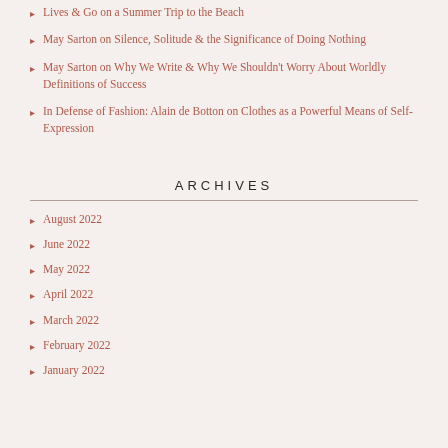Lives & Go on a Summer Trip to the Beach
May Sarton on Silence, Solitude & the Significance of Doing Nothing
May Sarton on Why We Write & Why We Shouldn't Worry About Worldly Definitions of Success
In Defense of Fashion: Alain de Botton on Clothes as a Powerful Means of Self-Expression
ARCHIVES
August 2022
June 2022
May 2022
April 2022
March 2022
February 2022
January 2022